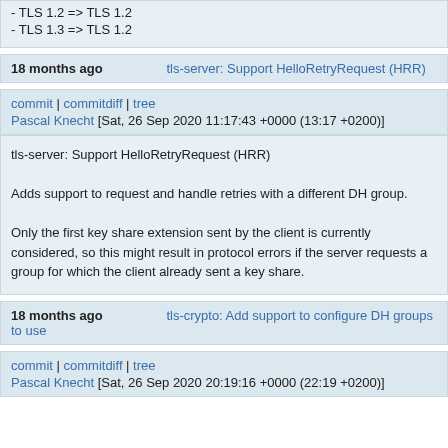- TLS 1.2 => TLS 1.2
- TLS 1.3 => TLS 1.2
18 months ago   tls-server: Support HelloRetryRequest (HRR)
commit | commitdiff | tree
Pascal Knecht [Sat, 26 Sep 2020 11:17:43 +0000 (13:17 +0200)]
tls-server: Support HelloRetryRequest (HRR)

Adds support to request and handle retries with a different DH group.

Only the first key share extension sent by the client is currently considered, so this might result in protocol errors if the server requests a group for which the client already sent a key share.
18 months ago   tls-crypto: Add support to configure DH groups to use
commit | commitdiff | tree
Pascal Knecht [Sat, 26 Sep 2020 20:19:16 +0000 (22:19 +0200)]